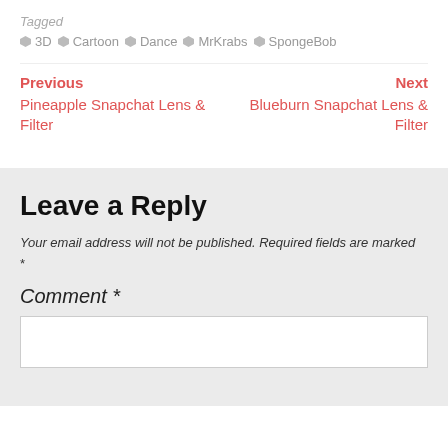Tagged
3D  Cartoon  Dance  MrKrabs  SpongeBob
Previous
Pineapple Snapchat Lens & Filter
Next
Blueburn Snapchat Lens & Filter
Leave a Reply
Your email address will not be published. Required fields are marked *
Comment *